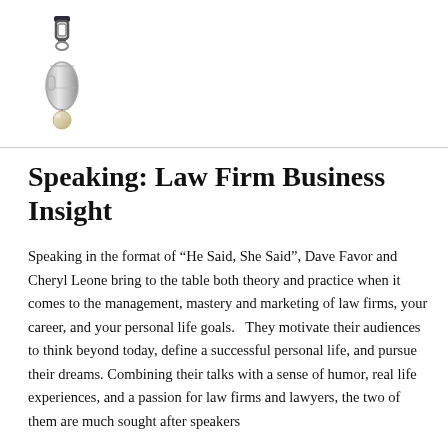[Figure (photo): A silver whistle on a lanyard/clip, positioned in the upper left of the page header area.]
Speaking: Law Firm Business Insight
Speaking in the format of “He Said, She Said”, Dave Favor and Cheryl Leone bring to the table both theory and practice when it comes to the management, mastery and marketing of law firms, your career, and your personal life goals.   They motivate their audiences to think beyond today, define a successful personal life, and pursue their dreams. Combining their talks with a sense of humor, real life experiences, and a passion for law firms and lawyers, the two of them are much sought after speakers